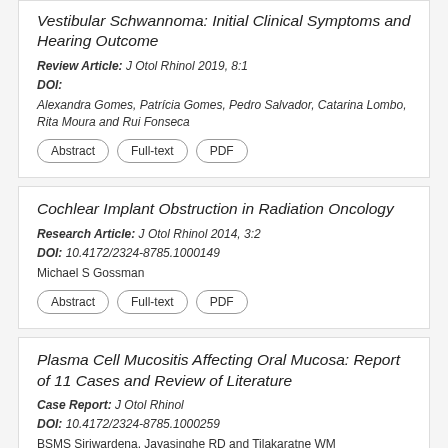Vestibular Schwannoma: Initial Clinical Symptoms and Hearing Outcome
Review Article: J Otol Rhinol 2019, 8:1
DOI:
Alexandra Gomes, Patrícia Gomes, Pedro Salvador, Catarina Lombo, Rita Moura and Rui Fonseca
Cochlear Implant Obstruction in Radiation Oncology
Research Article: J Otol Rhinol 2014, 3:2
DOI: 10.4172/2324-8785.1000149
Michael S Gossman
Plasma Cell Mucositis Affecting Oral Mucosa: Report of 11 Cases and Review of Literature
Case Report: J Otol Rhinol
DOI: 10.4172/2324-8785.1000259
BSMS Siriwardena, Jayasinghe RD and Tilakaratne WM